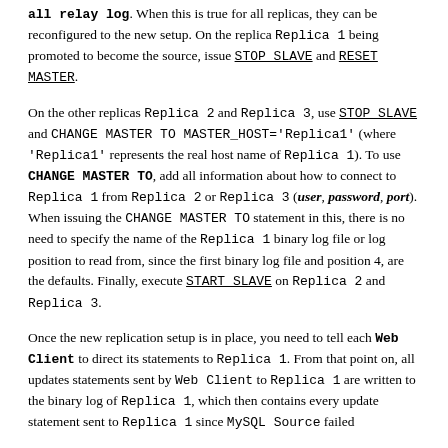all relay log. When this is true for all replicas, they can be reconfigured to the new setup. On the replica Replica 1 being promoted to become the source, issue STOP SLAVE and RESET MASTER.
On the other replicas Replica 2 and Replica 3, use STOP SLAVE and CHANGE MASTER TO MASTER_HOST='Replica1' (where 'Replica1' represents the real host name of Replica 1). To use CHANGE MASTER TO, add all information about how to connect to Replica 1 from Replica 2 or Replica 3 (user, password, port). When issuing the CHANGE MASTER TO statement in this, there is no need to specify the name of the Replica 1 binary log file or log position to read from, since the first binary log file and position 4, are the defaults. Finally, execute START SLAVE on Replica 2 and Replica 3.
Once the new replication setup is in place, you need to tell each Web Client to direct its statements to Replica 1. From that point on, all updates statements sent by Web Client to Replica 1 are written to the binary log of Replica 1, which then contains every update statement sent to Replica 1 since MySQL Source failed